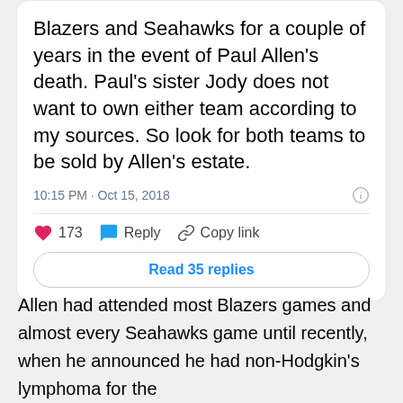Blazers and Seahawks for a couple of years in the event of Paul Allen's death. Paul's sister Jody does not want to own either team according to my sources. So look for both teams to be sold by Allen's estate.
10:15 PM · Oct 15, 2018
173  Reply  Copy link
Read 35 replies
Allen had attended most Blazers games and almost every Seahawks game until recently, when he announced he had non-Hodgkin's lymphoma for the